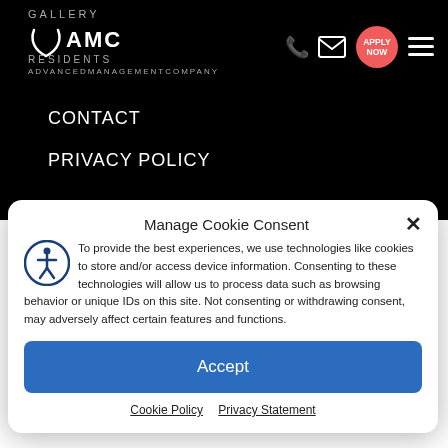[Figure (screenshot): Website header with black background showing AMC Advanced Management Company logo with GALLERY and RESIDENTS text, phone icon, email icon, coral APPLY NOW button, and hamburger menu icon]
CONTACT
PRIVACY POLICY
Manage Cookie Consent
To provide the best experiences, we use technologies like cookies to store and/or access device information. Consenting to these technologies will allow us to process data such as browsing behavior or unique IDs on this site. Not consenting or withdrawing consent, may adversely affect certain features and functions.
Accept
Cookie Policy  Privacy Statement